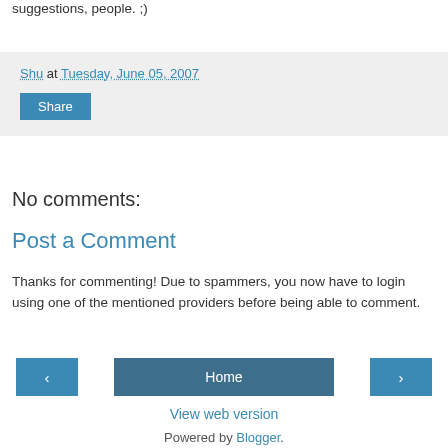suggestions, people. ;)
Shu at Tuesday, June 05, 2007
Share
No comments:
Post a Comment
Thanks for commenting! Due to spammers, you now have to login using one of the mentioned providers before being able to comment.
‹
Home
›
View web version
Powered by Blogger.